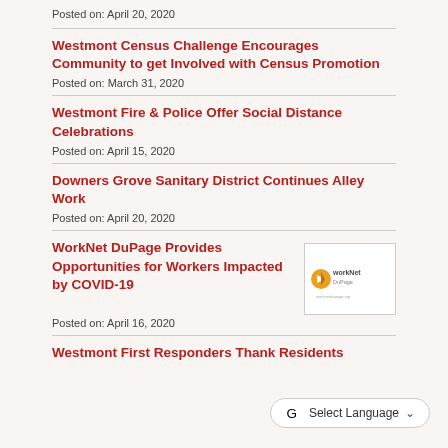Posted on: April 20, 2020
Westmont Census Challenge Encourages Community to get Involved with Census Promotion
Posted on: March 31, 2020
Westmont Fire & Police Offer Social Distance Celebrations
Posted on: April 15, 2020
Downers Grove Sanitary District Continues Alley Work
Posted on: April 20, 2020
WorkNet DuPage Provides Opportunities for Workers Impacted by COVID-19
[Figure (logo): WorkNet DuPage logo]
Posted on: April 16, 2020
Westmont First Responders Thank Residents